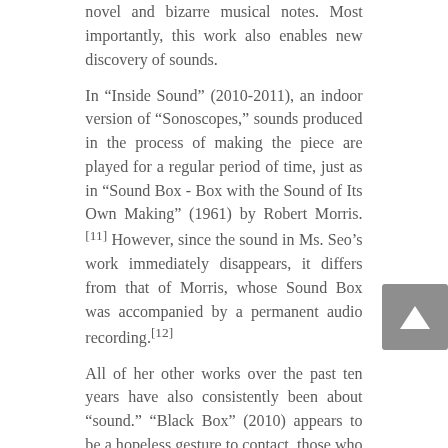novel and bizarre musical notes. Most importantly, this work also enables new discovery of sounds. In "Inside Sound" (2010-2011), an indoor version of "Sonoscopes," sounds produced in the process of making the piece are played for a regular period of time, just as in "Sound Box - Box with the Sound of Its Own Making" (1961) by Robert Morris.[11] However, since the sound in Ms. Seo's work immediately disappears, it differs from that of Morris, whose Sound Box was accompanied by a permanent audio recording.[12] All of her other works over the past ten years have also consistently been about "sound." "Black Box" (2010) appears to be a hopeless gesture to contact those who are already lost; the sound has been made abstract, and the text explores the viewer's response and relationship.[13] "10:17" (2010) presents the unfamiliar, dense, and strange sound of porcelain sand falling from a funnel-shaped container for ten minutes and seventeen seconds, placing the viewer's attention on the surrounding environment. "The Remaining"